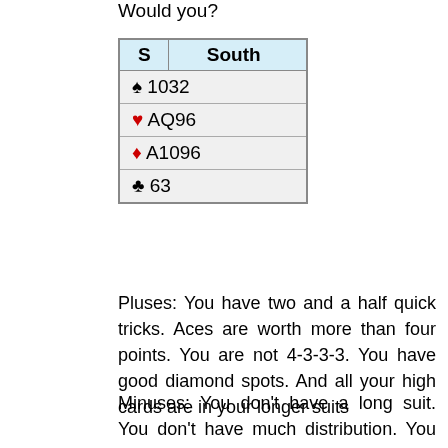Would you?
| S | South |
| --- | --- |
| ♠ 1032 |  |
| ♥ AQ96 |  |
| ♦ A1096 |  |
| ♣ 63 |  |
Pluses: You have two and a half quick tricks. Aces are worth more than four points. You are not 4-3-3-3. You have good diamond spots. And all your high cards are in your longer suits
Minuses: You don't have a long suit. You don't have much distribution. You only have